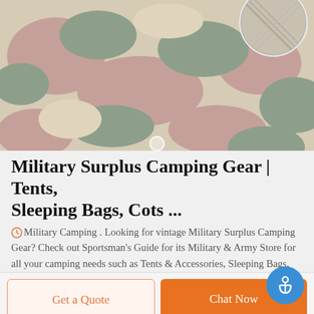[Figure (photo): Military camouflage fabric close-up showing green, tan, and pink/mauve camouflage pattern. A circular fabric swatch inset appears in the top-right corner showing a gray/beige textured material.]
Military Surplus Camping Gear | Tents, Sleeping Bags, Cots ...
Military Camping . Looking for vintage Military Surplus Camping Gear? Check out Sportsman's Guide for its Military & Army Store for all your camping needs such as Tents & Accessories, Sleeping Bags, Blankets, Mess Kits & Cooking, First Aid, Cots, Compasses, Lights & more.You will find everything you need and save BIG!
Get a Quote
Chat Now